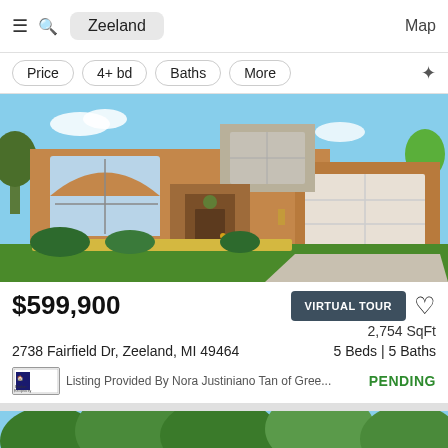Zeeland | Map
Price | 4+ bd | Baths | More
[Figure (photo): Exterior photo of a two-story brick house with arched window, attached two-car garage, and landscaped front yard with yellow flowers and green lawn]
$599,900
VIRTUAL TOUR
2,754 SqFt
2738 Fairfield Dr, Zeeland, MI 49464
5 Beds | 5 Baths
Listing Provided By Nora Justiniano Tan of Gree...
PENDING
[Figure (photo): Partial view of a second property listing showing green trees]